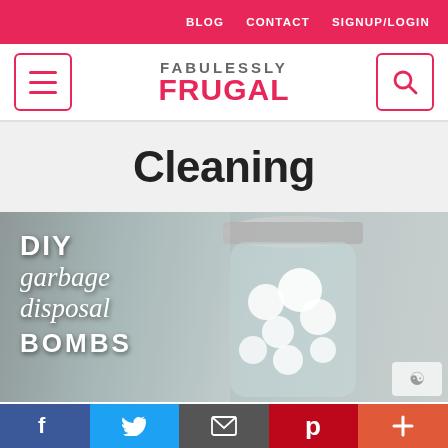BLOG   CONTACT   SIGNUP/LOGIN
[Figure (logo): Fabulessly Frugal logo with hamburger menu and search icon]
Cleaning
[Figure (photo): DIY garbage disposal bombs article thumbnail with mason jar filled with white balls]
Facebook  Twitter  Email  Pinterest  Plus